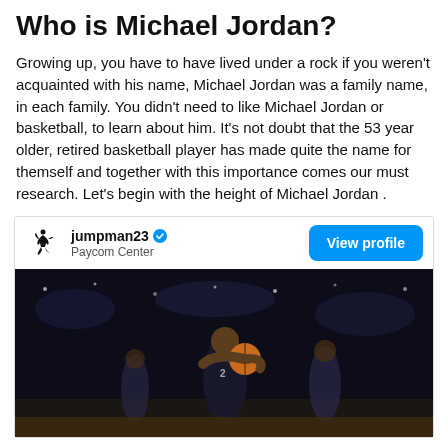Who is Michael Jordan?
Growing up, you have to have lived under a rock if you weren't acquainted with his name, Michael Jordan was a family name, in each family. You didn't need to like Michael Jordan or basketball, to learn about him. It's not doubt that the 53 year older, retired basketball player has made quite the name for themself and together with this importance comes our must research. Let's begin with the height of Michael Jordan .
[Figure (screenshot): Instagram-style profile card for jumpman23 at Paycom Center with a View profile button, followed by a basketball game photo showing a player holding a basketball in a dark arena.]